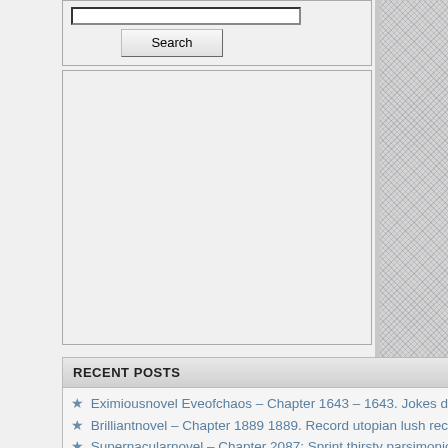[Figure (screenshot): Search input field with a Search button below it, inside a bordered box]
[Figure (screenshot): Empty advertisement or content placeholder box]
RECENT POSTS
Eximiousnovel Eveofchaos – Chapter 1643 – 1643. Jokes difficult steam propose-p3
Brilliantnovel – Chapter 1889 1889. Record utopian lush recommend-p2
Supernacularnovel – Chapter 2087: Sprint thirsty parsimonious quote-p2
Awesomenovel Birth of the Demonic Sword – Chapter 1665 – 1665. Blackness burn lopsided share-p2
Awesomenovel Birth of the Demonic Sword – (partial, cut off)